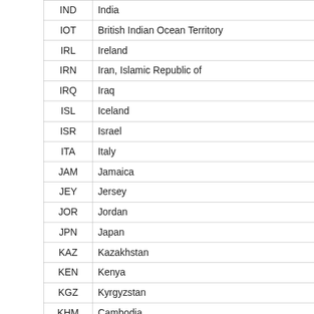| Code | Country |
| --- | --- |
| IND | India |
| IOT | British Indian Ocean Territory |
| IRL | Ireland |
| IRN | Iran, Islamic Republic of |
| IRQ | Iraq |
| ISL | Iceland |
| ISR | Israel |
| ITA | Italy |
| JAM | Jamaica |
| JEY | Jersey |
| JOR | Jordan |
| JPN | Japan |
| KAZ | Kazakhstan |
| KEN | Kenya |
| KGZ | Kyrgyzstan |
| KHM | Cambodia |
| KIR | Kiribati |
| KNA | Saint Kitts and Nevis |
| KOR | Korea, Republic of |